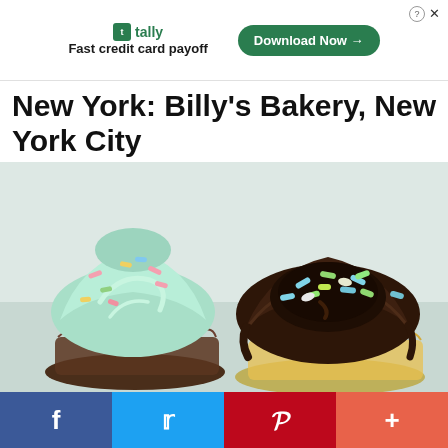[Figure (other): Advertisement banner for Tally app — 'Fast credit card payoff' with a green Download Now button]
New York: Billy's Bakery, New York City
[Figure (photo): Two large cupcakes side by side — one with mint green frosting and colorful sprinkles, one with dark chocolate ganache frosting and colorful candy sprinkles]
[Figure (other): Social media sharing bar with Facebook, Twitter, Pinterest, and More buttons]